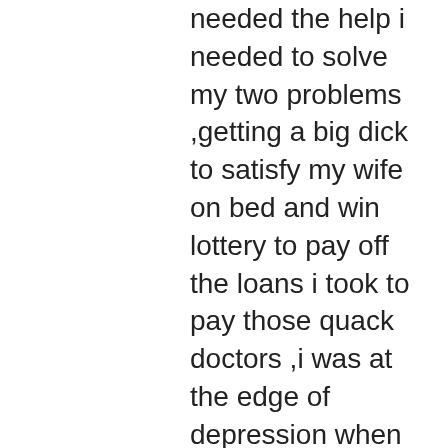needed the help i needed to solve my two problems ,getting a big dick to satisfy my wife on bed and win lottery to pay off the loans i took to pay those quack doctors ,i was at the edge of depression when luck ran unto me,i was listening to  CNN news about the UK crisis when i saw a comments of one man Mr HUGO HERNADEZ from UK testifying of how he helped him to win mega millions in the UK lottery ,i was amazed to read his story carefully and it was so touching and real so i quickly copied his website link https://drharryherbaltempl.wixsite.com/solutiontemple i complained